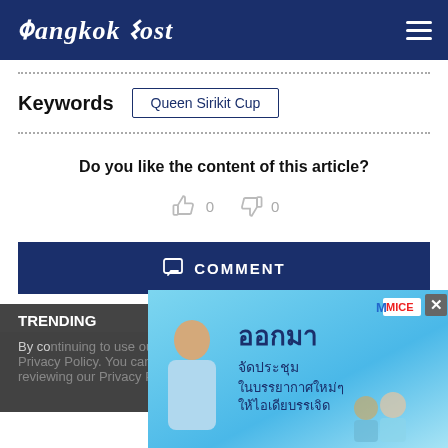Bangkok Post
Keywords
Queen Sirikit Cup
Do you like the content of this article?
0  0
COMMENT
TRENDING
By co... s as
[Figure (screenshot): Advertisement banner in Thai language with MICE logo and a person, with close X button]